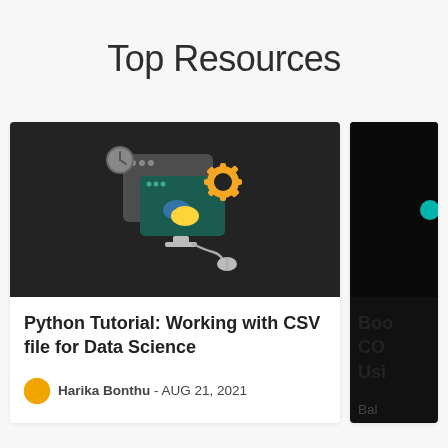Top Resources
[Figure (screenshot): Card thumbnail showing Python/programming illustration with dark background, monitor icons, Python logo, and gear icon]
Python Tutorial: Working with CSV file for Data Science
Harika Bonthu - AUG 21, 2021
[Figure (screenshot): Partially visible second resource card with dark background thumbnail and partial text: Boo, CO, Usi, Bal]